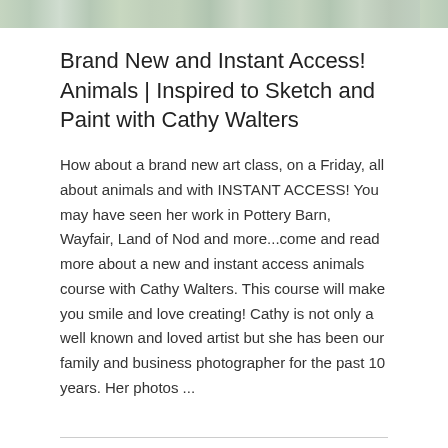[Figure (photo): Partial image strip at top of page showing an artistic/nature scene in muted greens and blues]
Brand New and Instant Access! Animals | Inspired to Sketch and Paint with Cathy Walters
How about a brand new art class, on a Friday, all about animals and with INSTANT ACCESS! You may have seen her work in Pottery Barn, Wayfair, Land of Nod and more...come and read more about a new and instant access animals course with Cathy Walters. This course will make you smile and love creating! Cathy is not only a well known and loved artist but she has been our family and business photographer for the past 10 years. Her photos ...